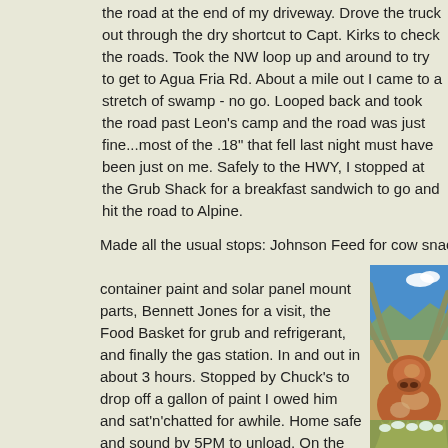the road at the end of my driveway. Drove the truck out through the dry shortcut to Capt. Kirks to check the roads. Took the NW loop up and around to try to get to Agua Fria Rd. About a mile out I came to a stretch of swamp - no go. Looped back and took the road past Leon's camp and the road was just fine...most of the .18" that fell last night must have been just on me. Safely to the HWY, I stopped at the Grub Shack for a breakfast sandwich to go and hit the road to Alpine.
Made all the usual stops: Johnson Feed for cow snacks, McCoys for more container paint and solar panel mount parts, Bennett Jones for a visit, the Food Basket for grub and refrigerant, and finally the gas station. In and out in about 3 hours. Stopped by Chuck's to drop off a gallon of paint I owed him and sat'n'chatted for awhile. Home safe and sound by 5PM to unload. On the way down the HWY, I spotted a fine looking Yucca bloom and snatched it for Benita.
[Figure (photo): Close-up photo of a longhorn cattle with large curved horns, reddish-brown and white spotted coat, looking directly at camera. Background shows blue sky with white clouds, arid desert landscape with construction materials and equipment.]